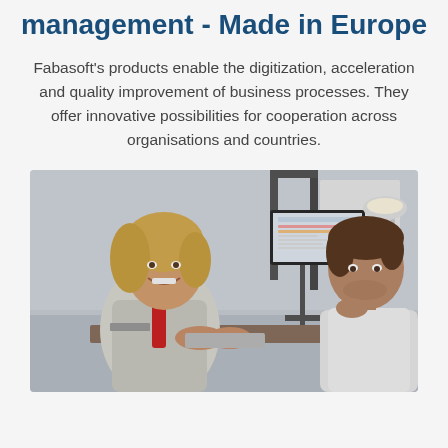management - Made in Europe
Fabasoft's products enable the digitization, acceleration and quality improvement of business processes. They offer innovative possibilities for cooperation across organisations and countries.
[Figure (photo): Two office professionals, a smiling blonde woman and a man, in conversation at a desk with a computer monitor showing a software interface. A second woman is visible in the background. Office environment with a desk lamp.]